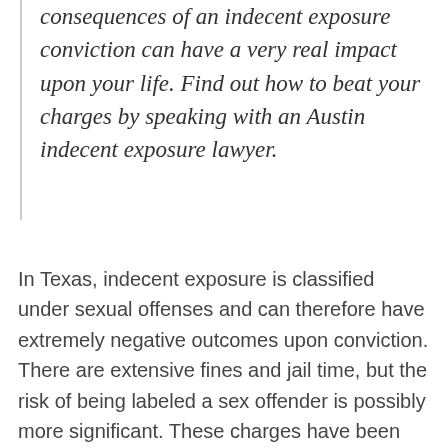consequences of an indecent exposure conviction can have a very real impact upon your life. Find out how to beat your charges by speaking with an Austin indecent exposure lawyer.
In Texas, indecent exposure is classified under sexual offenses and can therefore have extremely negative outcomes upon conviction. There are extensive fines and jail time, but the risk of being labeled a sex offender is possibly more significant. These charges have been leveled against people simply urinating in an alley, which is a municipal code violation in Austin, but not something worthy of a misdemeanor...